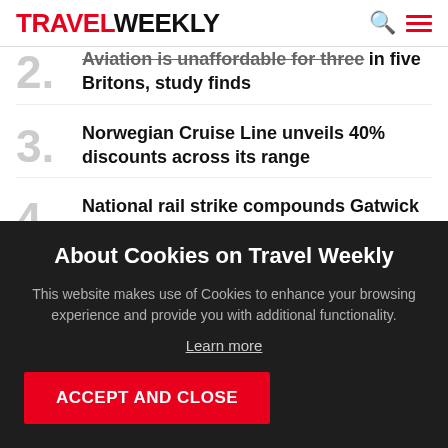TRAVEL WEEKLY
2. [Aviation is unaffordable for three] in five Britons, study finds
3. Norwegian Cruise Line unveils 40% discounts across its range
4. National rail strike compounds Gatwick flood disruption
5. Gatwick issues cancellations warning
About Cookies on Travel Weekly
This website makes use of Cookies to enhance your browsing experience and provide you with additional functionality.
Learn more
ACCEPT AND CLOSE